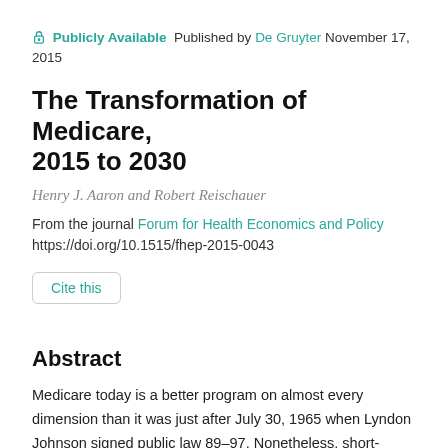Publicly Available  Published by De Gruyter  November 17, 2015
The Transformation of Medicare, 2015 to 2030
Henry J. Aaron and Robert Reischauer
From the journal Forum for Health Economics and Policy
https://doi.org/10.1515/fhep-2015-0043
Cite this
Abstract
Medicare today is a better program on almost every dimension than it was just after July 30, 1965 when Lyndon Johnson signed public law 89–97. Nonetheless, short-comings, limitations, and inadequacies remain.